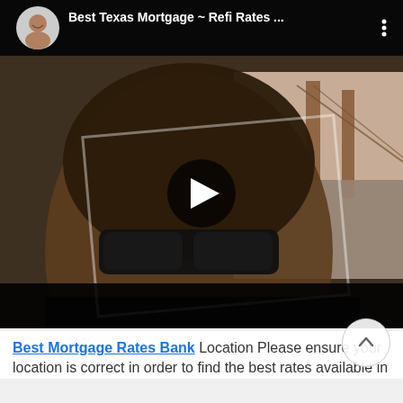[Figure (screenshot): YouTube video player screenshot showing a man with sunglasses and long hair smiling at the camera, with the Golden Gate Bridge visible in the background. The video top bar shows a circular channel avatar (man smiling), the title 'Best Texas Mortgage ~ Refi Rates ...' in white text, and a three-dot menu icon. A large play button is centered on the video. A black bar appears at the bottom of the video frame.]
Best Mortgage Rates Bank Location Please ensure your location is correct in order to find the best rates available in